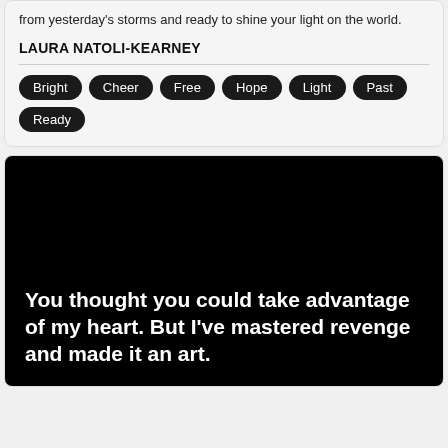from yesterday's storms and ready to shine your light on the world.
LAURA NATOLI-KEARNEY
Bright  Cheer  Free  Hope  Light  Past  Ready
[Figure (illustration): Black background panel with white bold text reading: You thought you could take advantage of my heart. But I've mastered revenge and made it an art.]